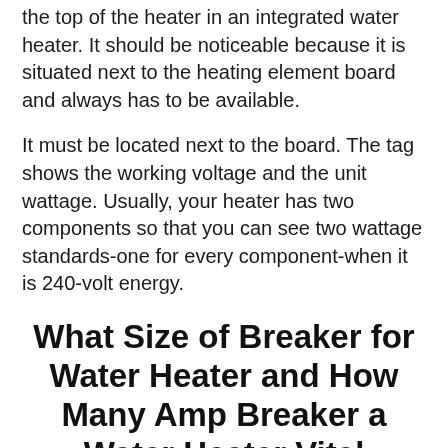the top of the heater in an integrated water heater. It should be noticeable because it is situated next to the heating element board and always has to be available.
It must be located next to the board. The tag shows the working voltage and the unit wattage. Usually, your heater has two components so that you can see two wattage standards-one for every component-when it is 240-volt energy.
What Size of Breaker for Water Heater and How Many Amp Breaker a Water Heater Vital Information: